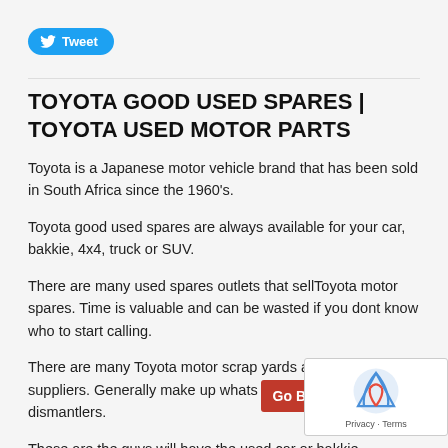[Figure (other): Twitter Tweet button — blue pill-shaped button with bird icon and 'Tweet' text]
TOYOTA GOOD USED SPARES | TOYOTA USED MOTOR PARTS
Toyota is a Japanese motor vehicle brand that has been sold in South Africa since the 1960's.
Toyota good used spares are always available for your car, bakkie, 4x4, truck or SUV.
There are many used spares outlets that sellToyota motor spares. Time is valuable and can be wasted if you dont know who to start calling.
There are many Toyota motor scrap yards and used parts suppliers. Generally make up whats also called the vehicle dismantlers.
These are the guys will have the used car or bakkie